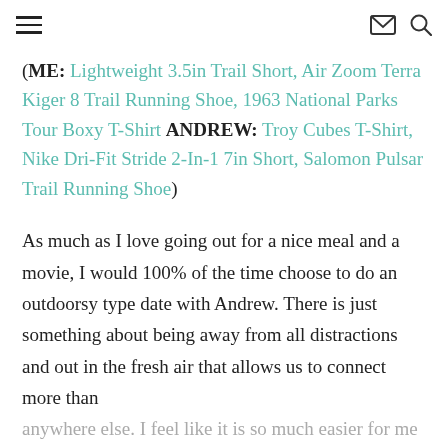Navigation header with hamburger menu, mail icon, and search icon
(ME: Lightweight 3.5in Trail Short, Air Zoom Terra Kiger 8 Trail Running Shoe, 1963 National Parks Tour Boxy T-Shirt ANDREW: Troy Cubes T-Shirt, Nike Dri-Fit Stride 2-In-1 7in Short, Salomon Pulsar Trail Running Shoe)
As much as I love going out for a nice meal and a movie, I would 100% of the time choose to do an outdoorsy type date with Andrew.  There is just something about being away from all distractions and out in the fresh air that allows us to connect more than anywhere else.  I feel like it is so much easier for me to be myself when I am outside.  We are much more